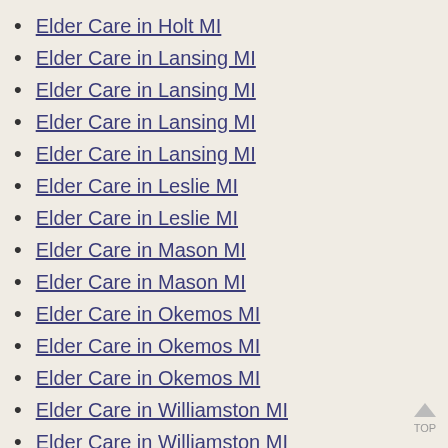Elder Care in Holt MI
Elder Care in Lansing MI
Elder Care in Lansing MI
Elder Care in Lansing MI
Elder Care in Lansing MI
Elder Care in Leslie MI
Elder Care in Leslie MI
Elder Care in Mason MI
Elder Care in Mason MI
Elder Care in Okemos MI
Elder Care in Okemos MI
Elder Care in Okemos MI
Elder Care in Williamston MI
Elder Care in Williamston MI
Elder Care in Williamston MI
Elderly Care in DeWitt MI